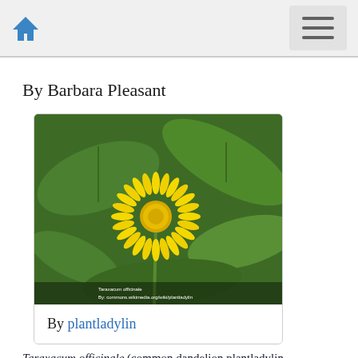Navigation bar with home icon and menu button
By Barbara Pleasant
[Figure (photo): Close-up photograph of a yellow dandelion flower (Taraxacum officinale) surrounded by green leaves. The flower is bright yellow with many petals radiating from the center. Photo credit overlay text visible at the bottom of the image.]
By plantladylin
Taraxacum officinale (common dandelion plantladylin